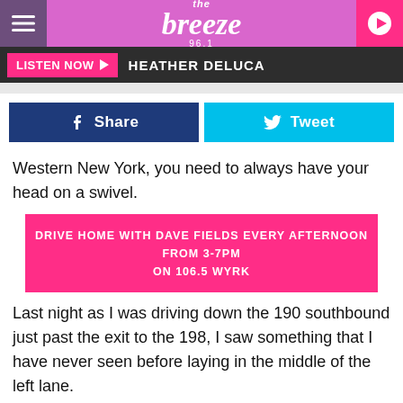the breeze 96.1
LISTEN NOW ▶ HEATHER DELUCA
[Figure (screenshot): Facebook Share button (dark blue) and Twitter Tweet button (cyan) side by side]
Western New York, you need to always have your head on a swivel.
DRIVE HOME WITH DAVE FIELDS EVERY AFTERNOON FROM 3-7PM ON 106.5 WYRK
Last night as I was driving down the 190 southbound just past the exit to the 198, I saw something that I have never seen before laying in the middle of the left lane.
It was the complete bed of an older truck. Yep, a dull red bed